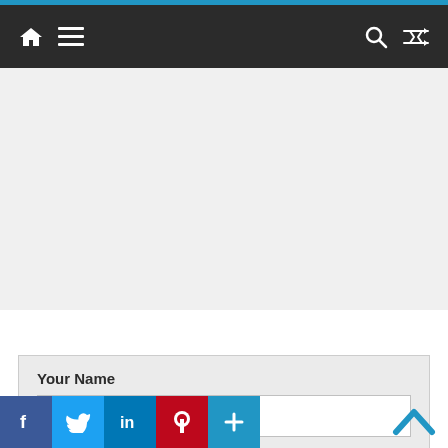Navigation bar with home, menu, search, and shuffle icons
[Figure (screenshot): Grey content area placeholder below navigation bar]
Your Name
Your Email
[Figure (infographic): Social share buttons: Facebook, Twitter, LinkedIn, Pinterest, Plus]
[Figure (other): Scroll-to-top chevron button in cyan/teal color]